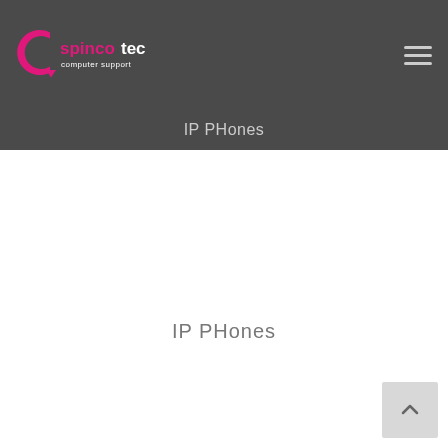[Figure (logo): Spincotech computer support logo with pink C-arrow icon and text]
IP PHones
IP PHones